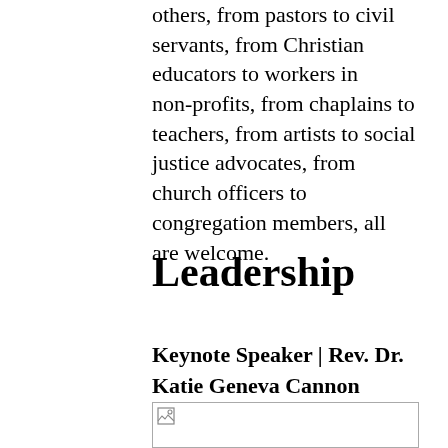others, from pastors to civil servants, from Christian educators to workers in non-profits, from chaplains to teachers, from artists to social justice advocates, from church officers to congregation members, all are welcome.
Leadership
Keynote Speaker | Rev. Dr. Katie Geneva Cannon
[Figure (photo): Image placeholder with broken image icon]